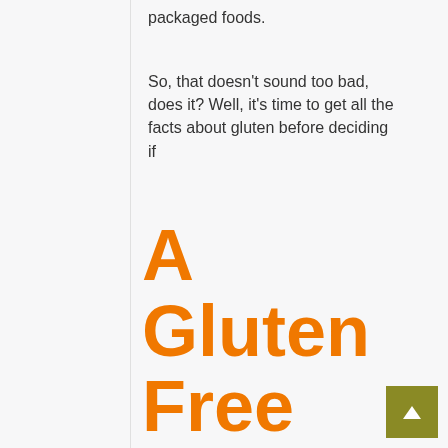packaged foods.
So, that doesn't sound too bad, does it? Well, it's time to get all the facts about gluten before deciding if
A Gluten Free Diet Is Right